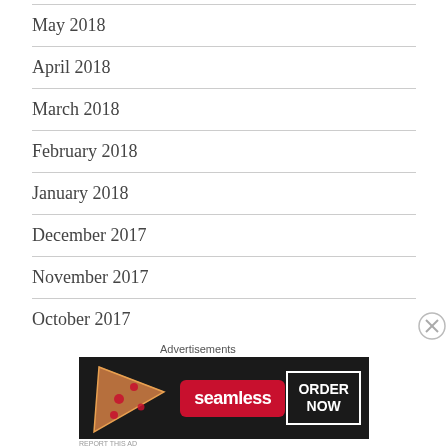May 2018
April 2018
March 2018
February 2018
January 2018
December 2017
November 2017
October 2017
September 2017
August 2017
July 2017
[Figure (other): Seamless food delivery advertisement banner with pizza image, red Seamless logo, and ORDER NOW button]